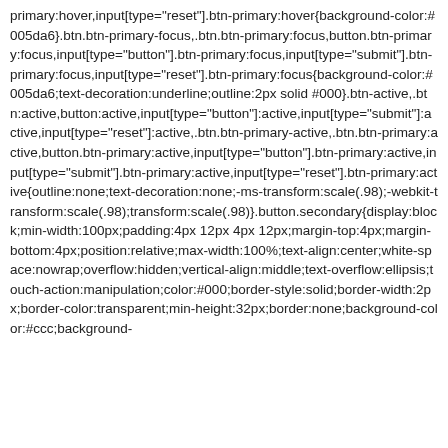primary:hover,input[type="reset"].btn-primary:hover{background-color:#005da6}.btn.btn-primary-focus,.btn.btn-primary:focus,button.btn-primary:focus,input[type="button"].btn-primary:focus,input[type="submit"].btn-primary:focus,input[type="reset"].btn-primary:focus{background-color:#005da6;text-decoration:underline;outline:2px solid #000}.btn-active,.btn:active,button:active,input[type="button"]:active,input[type="submit"]:active,input[type="reset"]:active,.btn.btn-primary-active,.btn.btn-primary:active,button.btn-primary:active,input[type="button"].btn-primary:active,input[type="submit"].btn-primary:active,input[type="reset"].btn-primary:active{outline:none;text-decoration:none;-ms-transform:scale(.98);-webkit-transform:scale(.98);transform:scale(.98)}.button.secondary{display:block;min-width:100px;padding:4px 12px 4px 12px;margin-top:4px;margin-bottom:4px;position:relative;max-width:100%;text-align:center;white-space:nowrap;overflow:hidden;vertical-align:middle;text-overflow:ellipsis;touch-action:manipulation;color:#000;border-style:solid;border-width:2px;border-color:transparent;min-height:32px;border:none;background-color:#ccc;background-